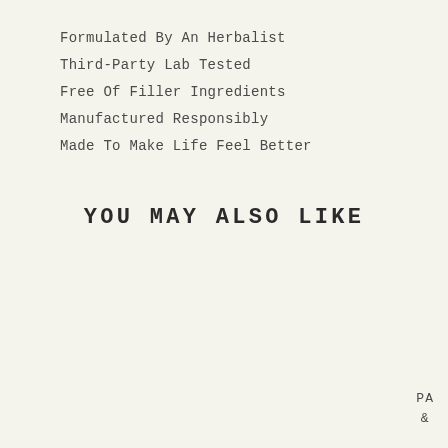Formulated By An Herbalist
Third-Party Lab Tested
Free Of Filler Ingredients
Manufactured Responsibly
Made To Make Life Feel Better
YOU MAY ALSO LIKE
PA &